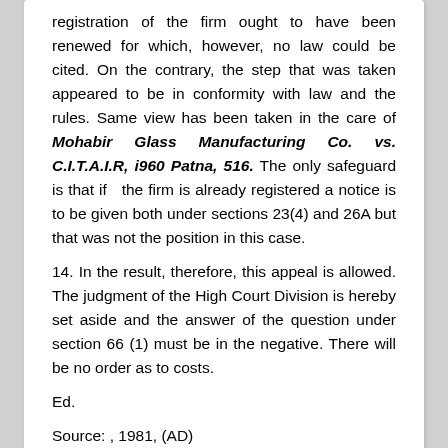registration of the firm ought to have been renewed for which, however, no law could be cited. On the contrary, the step that was taken appeared to be in conformity with law and the rules. Same view has been taken in the care of Mohabir Glass Manufacturing Co. vs. C.I.T.A.I.R, i960 Patna, 516. The only safeguard is that if the firm is already registered a notice is to be given both under sections 23(4) and 26A but that was not the position in this case.
14. In the result, therefore, this appeal is allowed. The judgment of the High Court Division is hereby set aside and the answer of the question under section 66 (1) must be in the negative. There will be no order as to costs.
Ed.
Source: , 1981, (AD)
DISCLAIMER:
The information contains in this web site is prepared for